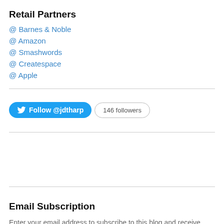Retail Partners
@ Barnes & Noble
@ Amazon
@ Smashwords
@ Createspace
@ Apple
[Figure (other): Twitter Follow button widget showing 'Follow @jdtharp' button and '146 followers' badge]
Email Subscription
Enter your email address to subscribe to this blog and receive notifications of new posts by email.